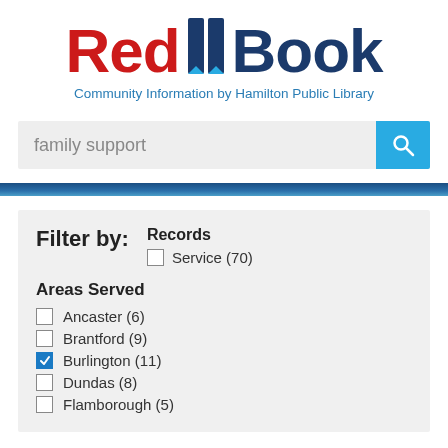[Figure (logo): Red Book logo with red 'Red' text, blue bookmark icon, blue 'Book' text]
Community Information by Hamilton Public Library
family support
Filter by:
Records
Service (70)
Areas Served
Ancaster (6)
Brantford (9)
Burlington (11)
Dundas (8)
Flamborough (5)